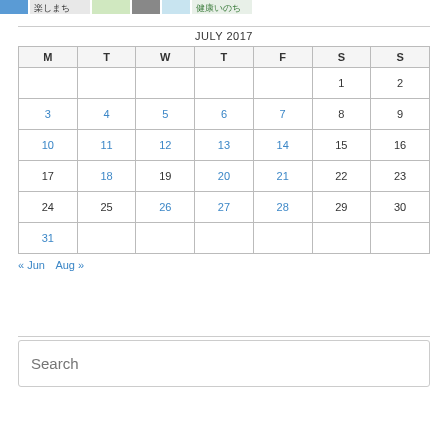[Figure (illustration): Row of small icons/images including colorful Japanese-style graphics with text]
| M | T | W | T | F | S | S |
| --- | --- | --- | --- | --- | --- | --- |
|  |  |  |  |  | 1 | 2 |
| 3 | 4 | 5 | 6 | 7 | 8 | 9 |
| 10 | 11 | 12 | 13 | 14 | 15 | 16 |
| 17 | 18 | 19 | 20 | 21 | 22 | 23 |
| 24 | 25 | 26 | 27 | 28 | 29 | 30 |
| 31 |  |  |  |  |  |  |
« Jun  Aug »
Search